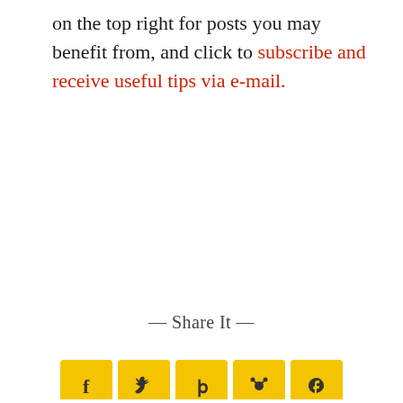on the top right for posts you may benefit from, and click to subscribe and receive useful tips via e-mail.
— Share It —
[Figure (other): Row of five yellow square social media share buttons (Facebook, Twitter/bird, another icon, another icon, another icon) partially visible at the bottom of the page]